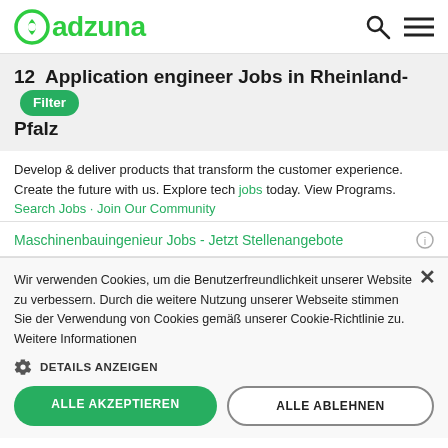adzuna
12  Application engineer Jobs in Rheinland-Pfalz
Develop & deliver products that transform the customer experience. Create the future with us. Explore tech jobs today. View Programs. Search Jobs · Join Our Community
Maschinenbauingenieur Jobs - Jetzt Stellenangebote
Wir verwenden Cookies, um die Benutzerfreundlichkeit unserer Website zu verbessern. Durch die weitere Nutzung unserer Webseite stimmen Sie der Verwendung von Cookies gemäß unserer Cookie-Richtlinie zu. Weitere Informationen
DETAILS ANZEIGEN
ALLE AKZEPTIEREN
ALLE ABLEHNEN